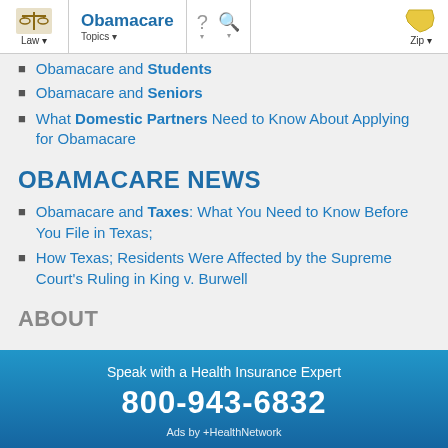Obamacare | Law | Topics | Zip
Obamacare and Students
Obamacare and Seniors
What Domestic Partners Need to Know About Applying for Obamacare
OBAMACARE NEWS
Obamacare and Taxes: What You Need to Know Before You File in Texas;
How Texas; Residents Were Affected by the Supreme Court's Ruling in King v. Burwell
ABOUT
Speak with a Health Insurance Expert
800-943-6832
Ads by +HealthNetwork